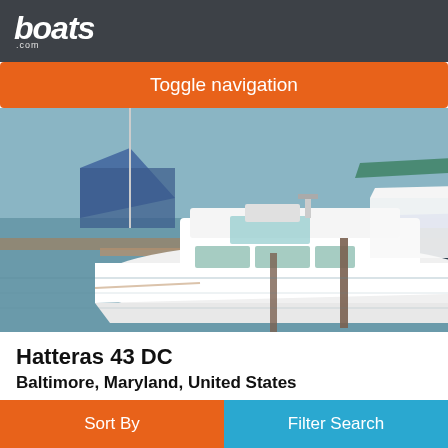boats.com
Toggle navigation
[Figure (photo): Aerial view of a white motor yacht (Hatteras 43 DC) docked at a marina alongside other boats, with blue water and wooden docks visible]
Hatteras 43 DC
Baltimore, Maryland, United States
1977
$64,812
Private Seller
Sort By
Filter Search